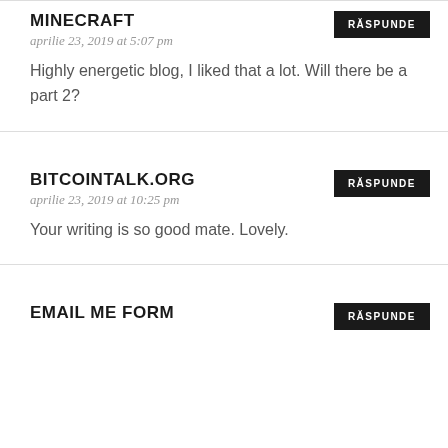MINECRAFT
aprilie 23, 2019 at 5:07 pm
Highly energetic blog, I liked that a lot. Will there be a part 2?
BITCOINTALK.ORG
aprilie 23, 2019 at 10:25 pm
Your writing is so good mate. Lovely.
EMAIL ME FORM